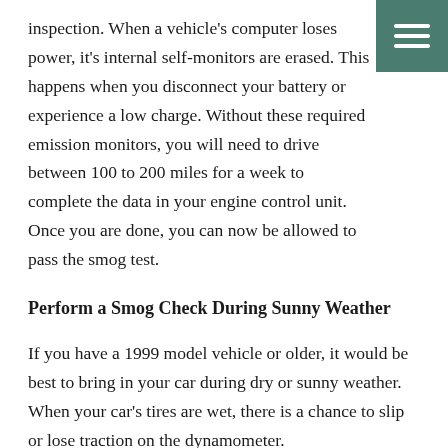inspection. When a vehicle's computer loses power, it's internal self-monitors are erased. This happens when you disconnect your battery or experience a low charge. Without these required emission monitors, you will need to drive between 100 to 200 miles for a week to complete the data in your engine control unit. Once you are done, you can now be allowed to pass the smog test.
Perform a Smog Check During Sunny Weather
If you have a 1999 model vehicle or older, it would be best to bring in your car during dry or sunny weather. When your car's tires are wet, there is a chance to slip or lose traction on the dynamometer.
This can result in failing the test due to an unstable engine and drivetrain torque. This doesn't mean that you can't pass an